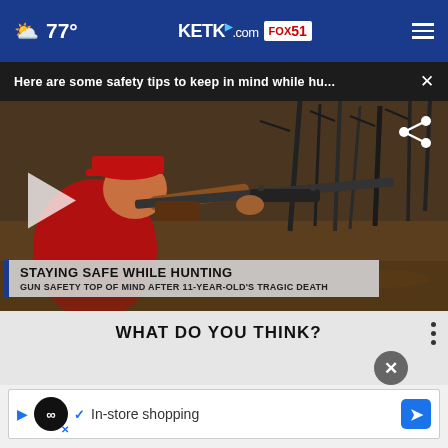77° KETK.com FOX51
Here are some safety tips to keep in mind while hu... ×
[Figure (screenshot): Video still of a young hunter in red cap aiming a scoped rifle in a wooded area. Overlay text reads: STAYING SAFE WHILE HUNTING - GUN SAFETY TOP OF MIND AFTER 11-YEAR-OLD'S TRAGIC DEATH]
WHAT DO YOU THINK?
How pote occurring on a large scale in any 2022
[Figure (screenshot): Advertisement banner with Google Maps-style navigation icon and text: In-store shopping]